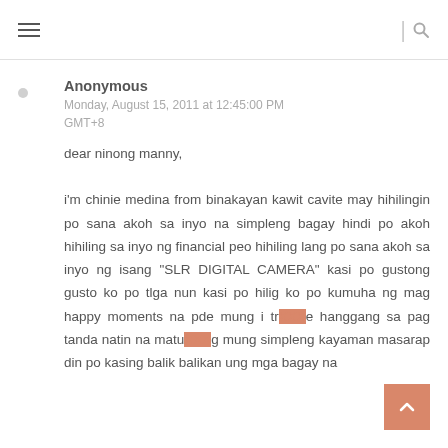≡  |  🔍
Anonymous
Monday, August 15, 2011 at 12:45:00 PM GMT+8
dear ninong manny,

i'm chinie medina from binakayan kawit cavite may hihilingin po sana akoh sa inyo na simpleng bagay hindi po akoh hihiling sa inyo ng financial peo hihiling lang po sana akoh sa inyo ng isang "SLR DIGITAL CAMERA" kasi po gustong gusto ko po tlga nun kasi po hilig ko po kumuha ng mag happy moments na pde mung i t[...]te hanggang sa pag tanda natin na matu[...]g mung simpleng kayaman masarap din po kasing balik balikan ung mga bagay na